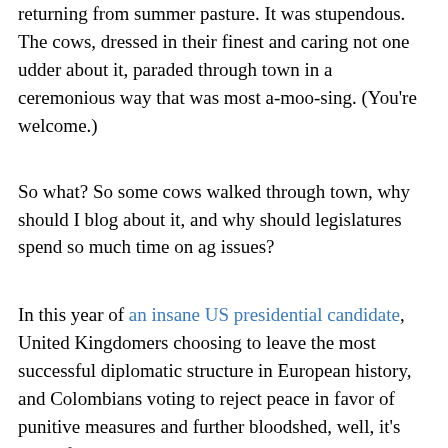returning from summer pasture. It was stupendous. The cows, dressed in their finest and caring not one udder about it, paraded through town in a ceremonious way that was most a-moo-sing. (You're welcome.)
So what? So some cows walked through town, why should I blog about it, and why should legislatures spend so much time on ag issues?
In this year of an insane US presidential candidate, United Kingdomers choosing to leave the most successful diplomatic structure in European history, and Colombians voting to reject peace in favor of punitive measures and further bloodshed, well, it's damn fine to sit back in the sun